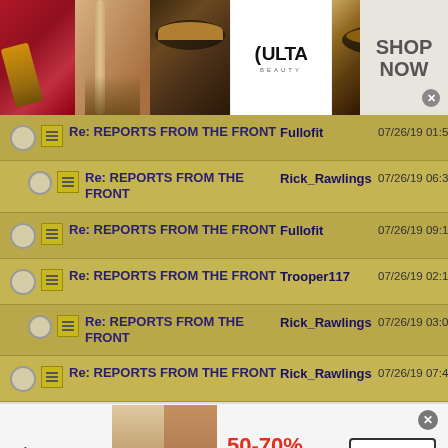[Figure (photo): Ulta Beauty advertisement banner at top showing makeup photos, Ulta Beauty logo, and SHOP NOW button]
Re: REPORTS FROM THE FRONT | Fullofit | 07/26/19 01:52 AM
Re: REPORTS FROM THE FRONT | Rick_Rawlings | 07/26/19 06:33 AM
Re: REPORTS FROM THE FRONT | Fullofit | 07/26/19 09:12 AM
Re: REPORTS FROM THE FRONT | Trooper117 | 07/26/19 02:14 PM
Re: REPORTS FROM THE FRONT | Rick_Rawlings | 07/26/19 03:03 PM
Re: REPORTS FROM THE FRONT | Rick_Rawlings | 07/26/19 07:42 PM
[Figure (photo): Aeropostale advertisement banner at bottom showing 50-70% off Everything with BUY NOW button]